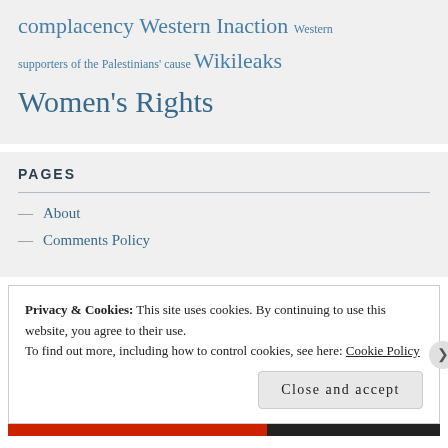complacency Western Inaction Western supporters of the Palestinians' cause Wikileaks Women's Rights
PAGES
— About
— Comments Policy
Privacy & Cookies: This site uses cookies. By continuing to use this website, you agree to their use.
To find out more, including how to control cookies, see here: Cookie Policy
Close and accept